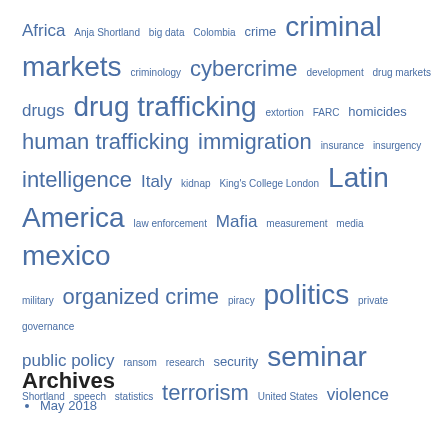[Figure (infographic): Tag cloud with terms related to crime, trafficking, and related topics in varying font sizes. Larger words appear more frequently. Terms include: Africa, Anja Shortland, big data, Colombia, crime, criminal markets, criminology, cybercrime, development, drug markets, drugs, drug trafficking, extortion, FARC, homicides, human trafficking, immigration, insurance, insurgency, intelligence, Italy, kidnap, King's College London, Latin America, law enforcement, Mafia, measurement, media, mexico, military, organized crime, piracy, politics, private governance, public policy, ransom, research, security, seminar, Shortland, speech, statistics, terrorism, United States, violence]
Archives
May 2018